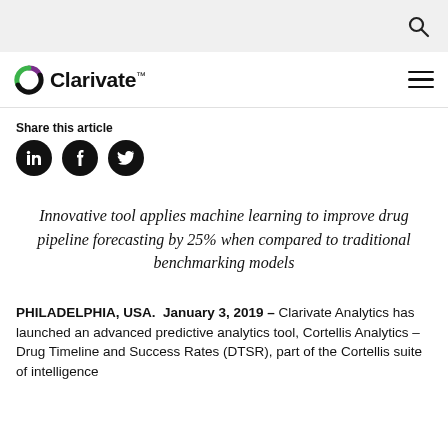Clarivate (navigation bar with search)
Share this article
[Figure (other): Social media share icons: LinkedIn, Facebook, Twitter]
Innovative tool applies machine learning to improve drug pipeline forecasting by 25% when compared to traditional benchmarking models
PHILADELPHIA, USA. January 3, 2019 – Clarivate Analytics has launched an advanced predictive analytics tool, Cortellis Analytics – Drug Timeline and Success Rates (DTSR), part of the Cortellis suite of intelligence